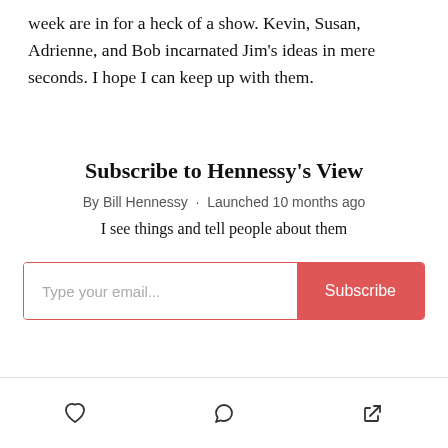week are in for a heck of a show. Kevin, Susan, Adrienne, and Bob incarnated Jim's ideas in mere seconds. I hope I can keep up with them.
Subscribe to Hennessy's View
By Bill Hennessy · Launched 10 months ago
I see things and tell people about them
Type your email... Subscribe
❤ 💬 ↗